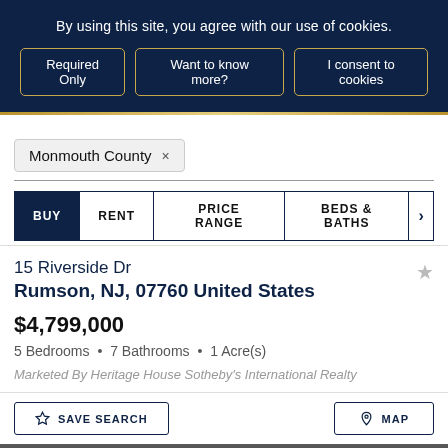By using this site, you agree with our use of cookies.
Required Only | Want to know more? | I consent to cookies
Monmouth County ×
BUY  RENT  PRICE RANGE  BEDS & BATHS
15 Riverside Dr
Rumson, NJ, 07760 United States
$4,799,000
5 Bedrooms • 7 Bathrooms • 1 Acre(s)
Marketed By Heritage House Sotheby's International Realty
SAVE SEARCH  MAP